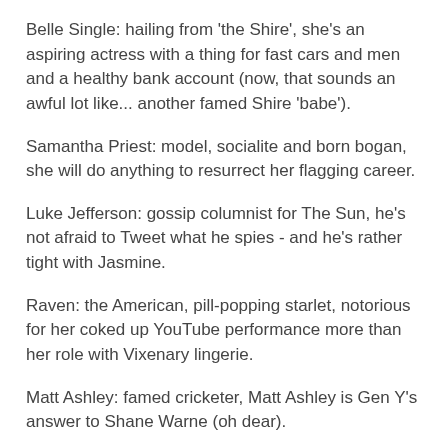Belle Single: hailing from 'the Shire', she's an aspiring actress with a thing for fast cars and men and a healthy bank account (now, that sounds an awful lot like... another famed Shire 'babe').
Samantha Priest: model, socialite and born bogan, she will do anything to resurrect her flagging career.
Luke Jefferson: gossip columnist for The Sun, he's not afraid to Tweet what he spies - and he's rather tight with Jasmine.
Raven: the American, pill-popping starlet, notorious for her coked up YouTube performance more than her role with Vixenary lingerie.
Matt Ashley: famed cricketer, Matt Ashley is Gen Y's answer to Shane Warne (oh dear).
Michael Lloyd: this handsome lad is Jasmine's 'knight' - and also Belle Single's boyfriend